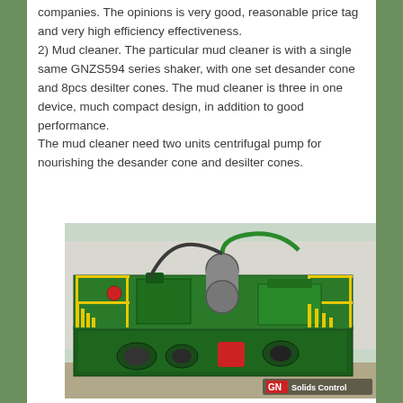companies. The opinions is very good, reasonable price tag and very high efficiency effectiveness.
2) Mud cleaner. The particular mud cleaner is with a single same GNZS594 series shaker, with one set desander cone and 8pcs desilter cones. The mud cleaner is three in one device, much compact design, in addition to good performance.
The mud cleaner need two units centrifugal pump for nourishing the desander cone and desilter cones.
[Figure (photo): Photo of a green industrial mud cleaner unit with yellow safety railings, mounted on a green skid/frame structure. The equipment includes pumps, pipes, and processing components. A GN Solids Control logo appears in the bottom right corner.]